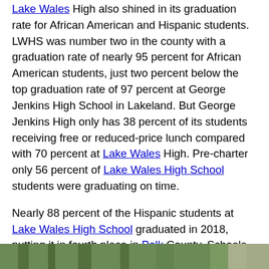Lake Wales High also shined in its graduation rate for African American and Hispanic students. LWHS was number two in the county with a graduation rate of nearly 95 percent for African American students, just two percent below the top graduation rate of 97 percent at George Jenkins High School in Lakeland. But George Jenkins High only has 38 percent of its students receiving free or reduced-price lunch compared with 70 percent at Lake Wales High. Pre-charter only 56 percent of Lake Wales High School students were graduating on time.
Nearly 88 percent of the Hispanic students at Lake Wales High School graduated in 2018, putting it in fourth place in Polk County. Schools with higher Hispanic graduation rates for 2018 were George Jenkins High at 96 percent, Lake Gibson High and Bartow High at 90 percent and Mulberry High at 89 percent.
[Figure (photo): Partial photo of outdoor scene with trees and building, cropped at bottom of page]